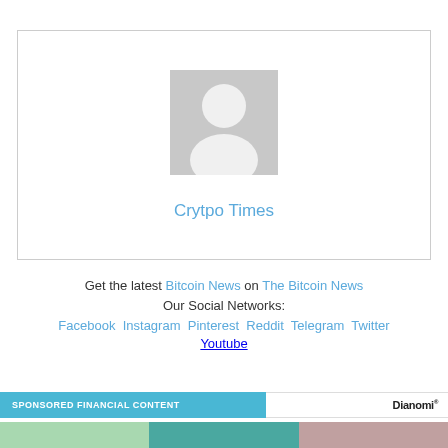[Figure (other): Profile card with a generic grey avatar placeholder image and the name 'Crytpo Times' in blue text below it, inside a bordered box]
Get the latest Bitcoin News on The Bitcoin News
Our Social Networks:
Facebook Instagram Pinterest Reddit Telegram Twitter Youtube
SPONSORED FINANCIAL CONTENT
[Figure (other): Three thumbnail images at the bottom of the page as part of sponsored financial content]